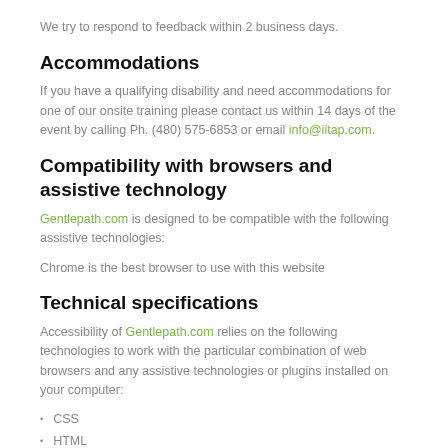We try to respond to feedback within 2 business days.
Accommodations
If you have a qualifying disability and need accommodations for one of our onsite training please contact us within 14 days of the event by calling Ph. (480) 575-6853 or email info@iitap.com.
Compatibility with browsers and assistive technology
Gentlepath.com is designed to be compatible with the following assistive technologies:
Chrome is the best browser to use with this website
Technical specifications
Accessibility of Gentlepath.com relies on the following technologies to work with the particular combination of web browsers and any assistive technologies or plugins installed on your computer:
CSS
HTML